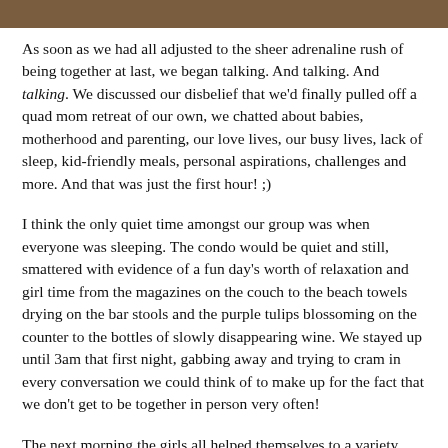[Figure (photo): Cropped photo bar at the top of the page, showing a brown/warm-toned image (partial, cropped).]
As soon as we had all adjusted to the sheer adrenaline rush of being together at last, we began talking. And talking. And talking. We discussed our disbelief that we'd finally pulled off a quad mom retreat of our own, we chatted about babies, motherhood and parenting, our love lives, our busy lives, lack of sleep, kid-friendly meals, personal aspirations, challenges and more. And that was just the first hour! ;)
I think the only quiet time amongst our group was when everyone was sleeping. The condo would be quiet and still, smattered with evidence of a fun day's worth of relaxation and girl time from the magazines on the couch to the beach towels drying on the bar stools and the purple tulips blossoming on the counter to the bottles of slowly disappearing wine. We stayed up until 3am that first night, gabbing away and trying to cram in every conversation we could think of to make up for the fact that we don't get to be together in person very often!
The next morning the girls all helped themselves to a variety